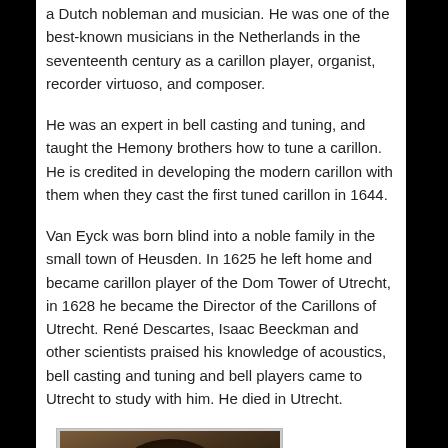a Dutch nobleman and musician. He was one of the best-known musicians in the Netherlands in the seventeenth century as a carillon player, organist, recorder virtuoso, and composer.
He was an expert in bell casting and tuning, and taught the Hemony brothers how to tune a carillon. He is credited in developing the modern carillon with them when they cast the first tuned carillon in 1644.
Van Eyck was born blind into a noble family in the small town of Heusden. In 1625 he left home and became carillon player of the Dom Tower of Utrecht, in 1628 he became the Director of the Carillons of Utrecht. René Descartes, Isaac Beeckman and other scientists praised his knowledge of acoustics, bell casting and tuning and bell players came to Utrecht to study with him. He died in Utrecht.
[Figure (photo): Portrait painting of a person with dark hair against a dark background]